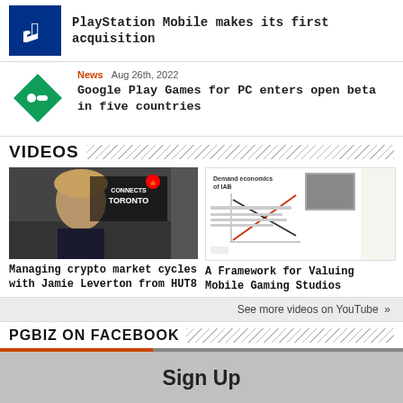PlayStation Mobile makes its first acquisition
News  Aug 26th, 2022
Google Play Games for PC enters open beta in five countries
VIDEOS
[Figure (photo): Video thumbnail: person at Connects Toronto event]
[Figure (photo): Video thumbnail: Demand economics of IAB chart presentation]
Managing crypto market cycles with Jamie Leverton from HUT8
A Framework for Valuing Mobile Gaming Studios
See more videos on YouTube  »
PGBIZ ON FACEBOOK
Sign Up